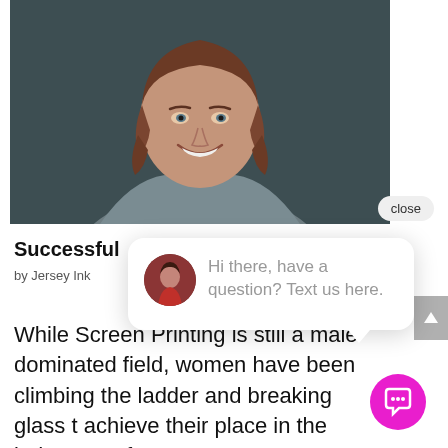[Figure (photo): Professional headshot of a middle-aged woman with auburn/brown hair, smiling, wearing a grey blazer over a dark patterned top, against a dark grey background.]
Successful
by Jersey Ink
[Figure (screenshot): Chat popup overlay with avatar of a woman and text: 'Hi there, have a question? Text us here.']
While Screen Printing is still a male-dominated field, women have been climbing the ladder and breaking glass t achieve their place in the industry. In fact,